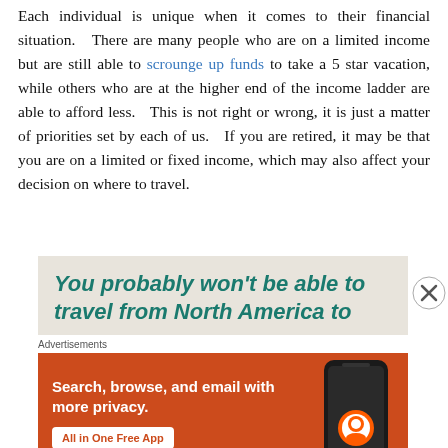Each individual is unique when it comes to their financial situation. There are many people who are on a limited income but are still able to scrounge up funds to take a 5 star vacation, while others who are at the higher end of the income ladder are able to afford less. This is not right or wrong, it is just a matter of priorities set by each of us. If you are retired, it may be that you are on a limited or fixed income, which may also affect your decision on where to travel.
[Figure (infographic): Advertisement banner with teal italic bold text on beige background reading 'You probably won't be able to travel from North America to' with a circular X close button on the right side, followed by an Advertisements label and a DuckDuckGo orange ad showing 'Search, browse, and email with more privacy. All in One Free App' with a phone image and DuckDuckGo logo.]